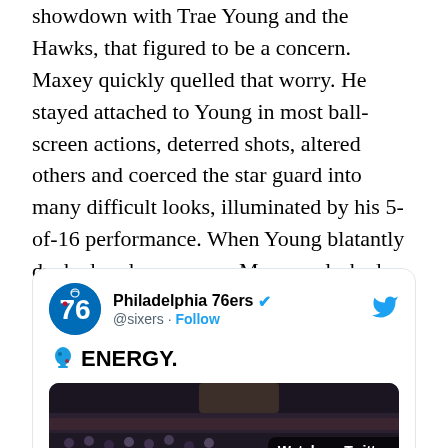showdown with Trae Young and the Hawks, that figured to be a concern. Maxey quickly quelled that worry. He stayed attached to Young in most ball-screen actions, deterred shots, altered others and coerced the star guard into many difficult looks, illuminated by his 5-of-16 performance. When Young blatantly ducked under a screen, Maxey splashed a confident pull-up trey. As a driver, he exploited creases in the defense and was discretionary in his shot selection. Few, if any, games have been better than this one in his career.
[Figure (screenshot): Embedded tweet from Philadelphia 76ers (@sixers) with verified checkmark. Tweet text reads: 🫧ENERGY. Below is a video thumbnail showing a crowd at a basketball arena with a 'Watch on Twitter' label.]